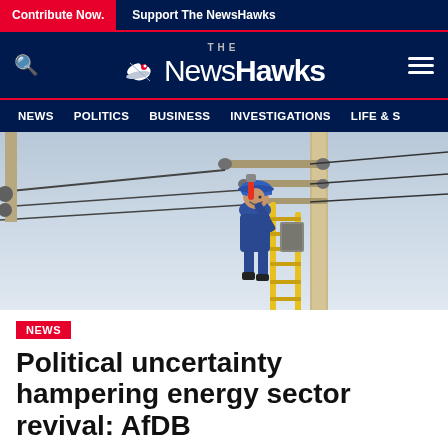Contribute Now. | Support The NewsHawks
[Figure (logo): The NewsHawks logo with bird icon, search icon on left, hamburger menu on right, on dark navy background]
NEWS  POLITICS  BUSINESS  INVESTIGATIONS  LIFE & S
[Figure (photo): An electrician or utility worker in a hard hat climbing a power utility pole, smiling, with electrical wires and equipment visible against a sky background]
NEWS
Political uncertainty hampering energy sector revival: AfDB